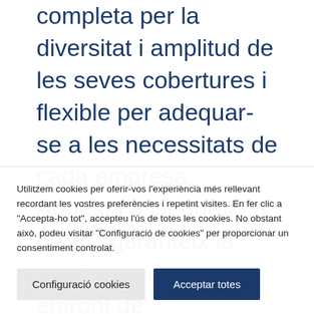completa per la diversitat i amplitud de les seves cobertures i flexible per adequar-se a les necessitats de cada empresa. Aquesta assegurança de RC garanteix la màxima protecció enfront de reclamacions de tercers en qualsevol sector, incloent activitats
Utilitzem cookies per oferir-vos l'experiència més rellevant recordant les vostres preferències i repetint visites. En fer clic a "Accepta-ho tot", accepteu l'ús de totes les cookies. No obstant això, podeu visitar "Configuració de cookies" per proporcionar un consentiment controlat.
Configuració cookies
Acceptar totes